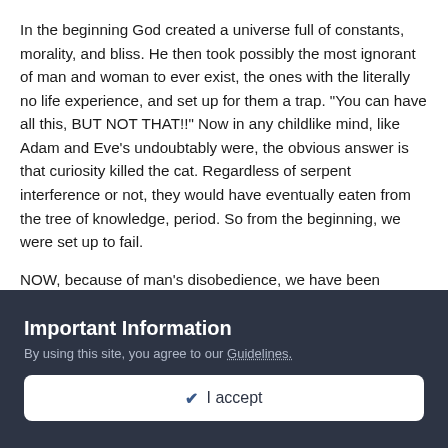In the beginning God created a universe full of constants, morality, and bliss. He then took possibly the most ignorant of man and woman to ever exist, the ones with the literally no life experience, and set up for them a trap. "You can have all this, BUT NOT THAT!!" Now in any childlike mind, like Adam and Eve's undoubtably were, the obvious answer is that curiosity killed the cat. Regardless of serpent interference or not, they would have eventually eaten from the tree of knowledge, period. So from the beginning, we were set up to fail.
NOW, because of man's disobedience, we have been cursed to a world of constants, immorality, and suffering. Lets move further down the line. We now know after millenniums of suffering, that we have been given this divine chance, a chance to accept God as our Savior by faith alone, or to deny him and face torment by
Important Information
By using this site, you agree to our Guidelines.
✔ I accept